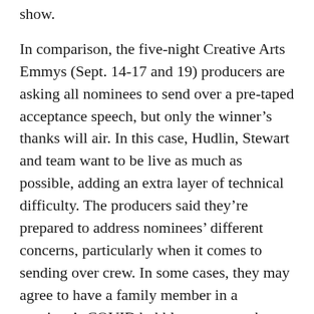show.
In comparison, the five-night Creative Arts Emmys (Sept. 14-17 and 19) producers are asking all nominees to send over a pre-taped acceptance speech, but only the winner's thanks will air. In this case, Hudlin, Stewart and team want to be live as much as possible, adding an extra layer of technical difficulty. The producers said they're prepared to address nominees' different concerns, particularly when it comes to sending over crew. In some cases, they may agree to have a family member in a nominee's COVID bubble to operate the broadcast camera. The goal is to avoid using platforms like Skype, Facetime or Zoom on their laptop or phones.
“We’re not trying to make the Zoomies, we’re trying to make the Emmys,” Stewart said. “So one of the things we are trying to do is get the highest and kit to